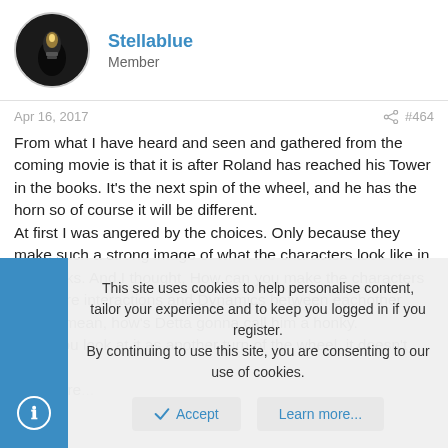Stellablue
Member
Apr 16, 2017   #464
From what I have heard and seen and gathered from the coming movie is that it is after Roland has reached his Tower in the books. It's the next spin of the wheel, and he has the horn so of course it will be different.
At first I was angered by the choices. Only because they make such a strong image of what the characters look like in the books. And I thought, How can you make the characters and there interactions and Dynamics between eachother work. I mean, how's Detta gonna call him a honky.
But if you look at it as another turn of the wheel, it doesn't matter.
And more...
This site uses cookies to help personalise content, tailor your experience and to keep you logged in if you register.
By continuing to use this site, you are consenting to our use of cookies.